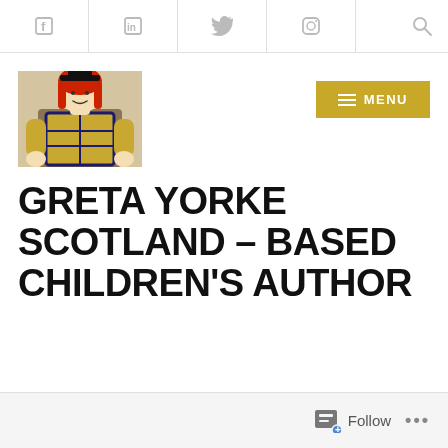Social media navigation bar with Facebook, LinkedIn, Twitter, Instagram icons and search
[Figure (photo): Photo of a knitted doll with red hair, wearing a black hat and colorful tartan outfit]
[Figure (other): MENU button with hamburger icon on gold/yellow background]
GRETA YORKE SCOTLAND – BASED CHILDREN'S AUTHOR
Follow ...